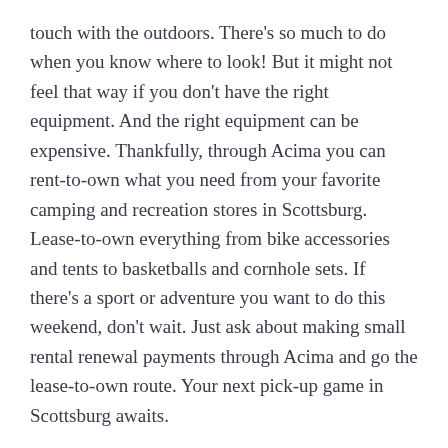touch with the outdoors. There's so much to do when you know where to look! But it might not feel that way if you don't have the right equipment. And the right equipment can be expensive. Thankfully, through Acima you can rent-to-own what you need from your favorite camping and recreation stores in Scottsburg. Lease-to-own everything from bike accessories and tents to basketballs and cornhole sets. If there's a sport or adventure you want to do this weekend, don't wait. Just ask about making small rental renewal payments through Acima and go the lease-to-own route. Your next pick-up game in Scottsburg awaits.
Lease Jewelry in Scottsburg, IN for You and Yours
The rent-to-own fun doesn't stop with fishing and camping gear in Scottsburg. For the fashion-forward folks, Acima also enables you to rent-to-own fine jewelry in Scottsburg, IN. Need a present for your spouse on your anniversary? Bring home a beautiful ring now with flexible rental renewal